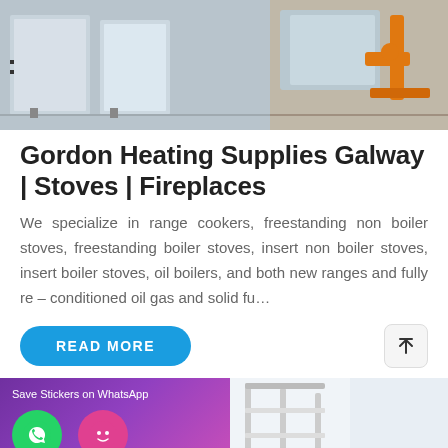[Figure (photo): Photo of heating equipment and boilers in a workshop/showroom setting]
Gordon Heating Supplies Galway | Stoves | Fireplaces
We specialize in range cookers, freestanding non boiler stoves, freestanding boiler stoves, insert non boiler stoves, insert boiler stoves, oil boilers, and both new ranges and fully re – conditioned oil gas and solid fu…
[Figure (screenshot): Bottom section showing WhatsApp sticker save overlay and a staircase/interior photo, with bottom navigation bar showing MAIL, ADVISORY, OFFER options]